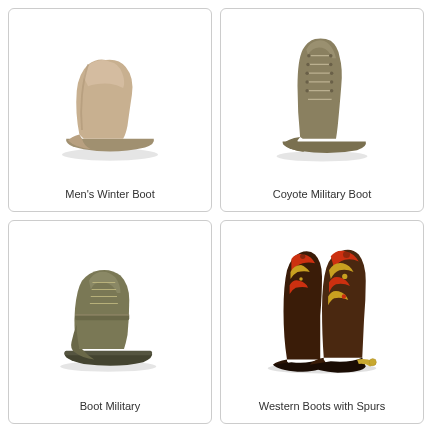[Figure (photo): Men's Winter Boot - a tan/beige suede ankle boot viewed from the side, with a rounded toe and thick sole, shown on white background]
Men's Winter Boot
[Figure (photo): Coyote Military Boot - an olive/tan high-cut lace-up military boot with multiple eyelets, shown from the front-side angle on white background]
Coyote Military Boot
[Figure (photo): Boot Military - an olive/khaki tactical lace-up boot with cap toe and lug sole, shown from side angle on white background]
Boot Military
[Figure (photo): Western Boots with Spurs - a pair of dark brown cowboy boots with decorative red and gold embroidery on the shaft, metal spurs on the heel, shown on white background]
Western Boots with Spurs